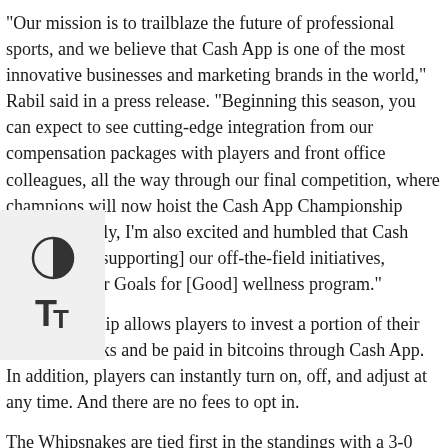"Our mission is to trailblaze the future of professional sports, and we believe that Cash App is one of the most innovative businesses and marketing brands in the world," Rabil said in a press release. "Beginning this season, you can expect to see cutting-edge integration from our compensation packages with players and front office colleagues, all the way through our final competition, where champions will now hoist the Cash App Championship Trophy. Finally, I'm also excited and humbled that Cash App will be [supporting] our off-the-field initiatives, presenting our Goals for [Good] wellness program."
The partnership allows players to invest a portion of their PLL paychecks and be paid in bitcoins through Cash App. In addition, players can instantly turn on, off, and adjust at any time. And there are no fees to opt in.
The Whipsnakes are tied first in the standings with a 3-0 record.